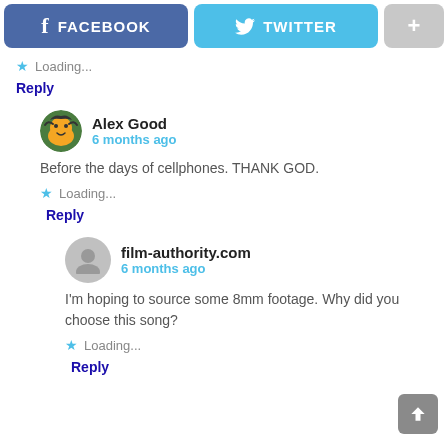[Figure (screenshot): Social share buttons: Facebook (blue), Twitter (cyan), and a plus (+) gray button at the top]
Loading...
Reply
Alex Good
6 months ago
Before the days of cellphones. THANK GOD.
Loading...
Reply
film-authority.com
6 months ago
I'm hoping to source some 8mm footage. Why did you choose this song?
Loading...
Reply